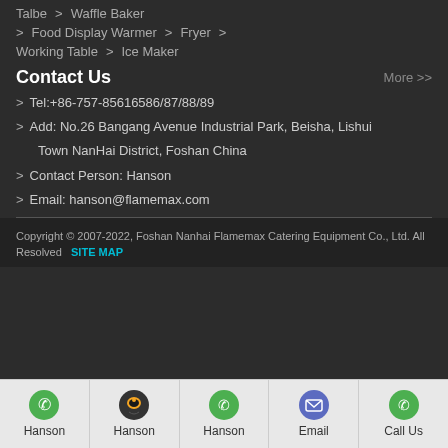Talbe  >  Waffle Baker
>  Food Display Warmer   >  Fryer   >
Working Table   >  Ice Maker
Contact Us
More >>
>  Tel:+86-757-85616586/87/88/89
>  Add: No.26 Bangang Avenue Industrial Park, Beisha, Lishui Town NanHai District, Foshan China
>  Contact Person: Hanson
>  Email: hanson@flamemax.com
Copyright © 2007-2022, Foshan Nanhai Flamemax Catering Equipment Co., Ltd. All Resolved   SITE MAP
Hanson | Hanson | Hanson | Email | Call Us